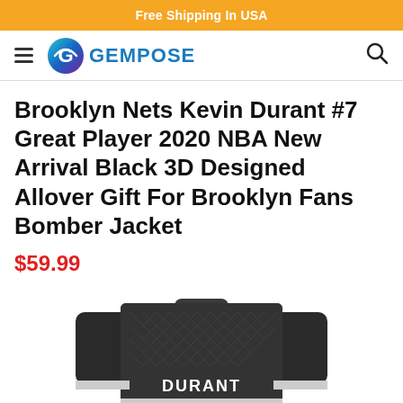Free Shipping In USA
[Figure (logo): Gempose logo with circular gradient icon and GEMPOSE text in teal/blue]
Brooklyn Nets Kevin Durant #7 Great Player 2020 NBA New Arrival Black 3D Designed Allover Gift For Brooklyn Fans Bomber Jacket
$59.99
[Figure (photo): Black bomber jacket with 'DURANT' text on the back, dark geometric pattern, white stripe at bottom hem]